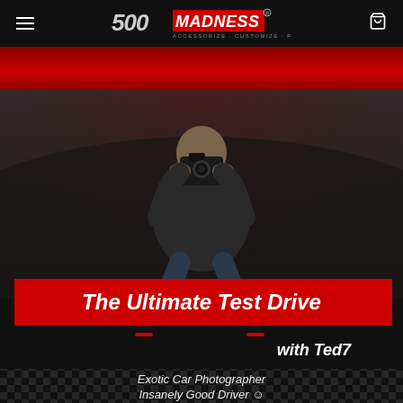500 MADNESS - ACCESSORIZE + CUSTOMIZE + PERSONALIZE
[Figure (photo): Website screenshot of 500Madness.com showing a man sitting on top of a dark car holding a camera, photographing. There is a red banner strip below the navigation header, and a large red title banner reading 'The Ultimate Test Drive' with 'with Ted7' written below on the right. At the bottom is text 'Exotic Car Photographer / Insanely Good Driver' on a dark background with a checkered flag pattern.]
The Ultimate Test Drive
with Ted7
Exotic Car Photographer
Insanely Good Driver ☺